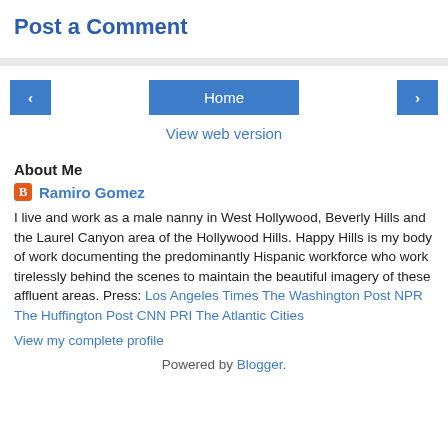Post a Comment
About Me
Ramiro Gomez
I live and work as a male nanny in West Hollywood, Beverly Hills and the Laurel Canyon area of the Hollywood Hills. Happy Hills is my body of work documenting the predominantly Hispanic workforce who work tirelessly behind the scenes to maintain the beautiful imagery of these affluent areas. Press: Los Angeles Times The Washington Post NPR The Huffington Post CNN PRI The Atlantic Cities
View my complete profile
Powered by Blogger.